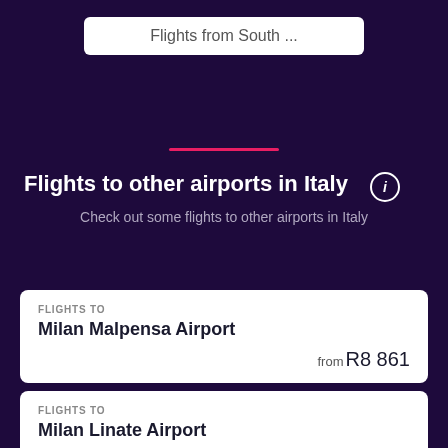Flights from South ...
Flights to other airports in Italy
Check out some flights to other airports in Italy
FLIGHTS TO
Milan Malpensa Airport
from R8 861
FLIGHTS TO
Milan Linate Airport
from R9 903